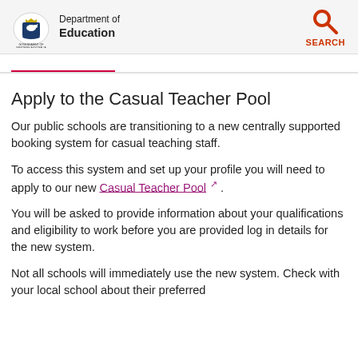Department of Education – Government of Western Australia
Apply to the Casual Teacher Pool
Our public schools are transitioning to a new centrally supported booking system for casual teaching staff.
To access this system and set up your profile you will need to apply to our new Casual Teacher Pool.
You will be asked to provide information about your qualifications and eligibility to work before you are provided log in details for the new system.
Not all schools will immediately use the new system. Check with your local school about their preferred